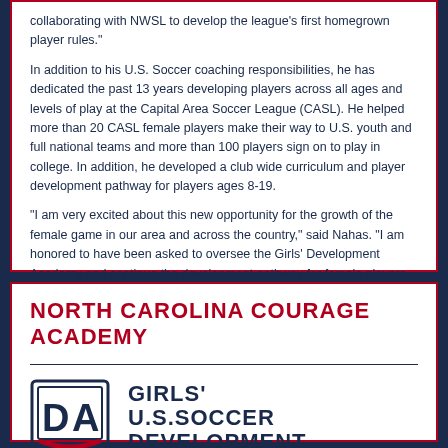collaborating with NWSL to develop the league's first homegrown player rules."
In addition to his U.S. Soccer coaching responsibilities, he has dedicated the past 13 years developing players across all ages and levels of play at the Capital Area Soccer League (CASL). He helped more than 20 CASL female players make their way to U.S. youth and full national teams and more than 100 players sign on to play in college. In addition, he developed a club wide curriculum and player development pathway for players ages 8-19.
“I am very excited about this new opportunity for the growth of the female game in our area and across the country,” said Nahas. “I am honored to have been asked to oversee the Girls’ Development Academy and continue the development pathway for female players in our area.”
NORTH CAROLINA COURAGE ACADEMY
[Figure (logo): Girls' U.S. Soccer Development Academy logo with DA shield emblem]